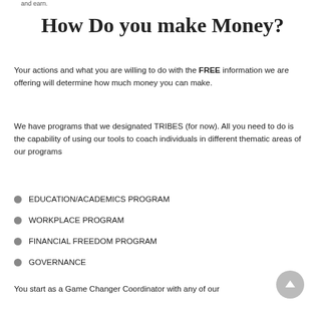and earn.
How Do you make Money?
Your actions and what you are willing to do with the FREE information we are offering will determine how much money you can make.
We have programs that we designated TRIBES (for now). All you need to do is the capability of using our tools to coach individuals in different thematic areas of our programs
EDUCATION/ACADEMICS PROGRAM
WORKPLACE PROGRAM
FINANCIAL FREEDOM PROGRAM
GOVERNANCE
You start as a Game Changer Coordinator with any of our